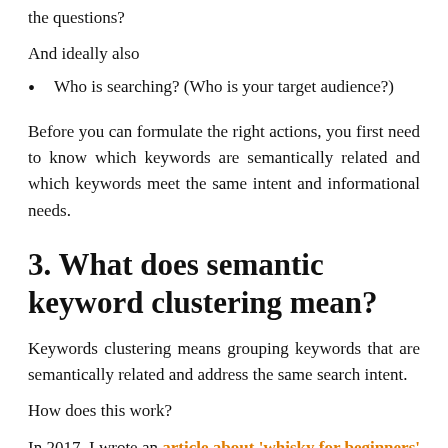the questions?
And ideally also
Who is searching? (Who is your target audience?)
Before you can formulate the right actions, you first need to know which keywords are semantically related and which keywords meet the same intent and informational needs.
3. What does semantic keyword clustering mean?
Keywords clustering means grouping keywords that are semantically related and address the same search intent.
How does this work?
In 2017, I wrote an article about 'whisky for beginners' for a Dutch retailer Gall & Gall. At the time, I was a novice whisky drinker and went to consult myself to gain insight into what the contents for the article would be. I asked myself, the